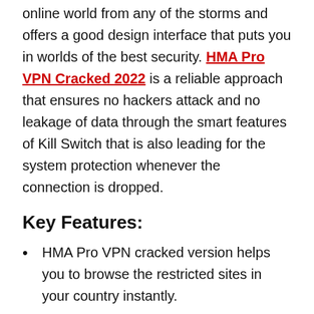online world from any of the storms and offers a good design interface that puts you in worlds of the best security. HMA Pro VPN Cracked 2022 is a reliable approach that ensures no hackers attack and no leakage of data through the smart features of Kill Switch that is also leading for the system protection whenever the connection is dropped.
Key Features:
HMA Pro VPN cracked version helps you to browse the restricted sites in your country instantly.
It helps you to stay safe and secure while accessing a public Wi-Fi network.
Also, it hides your browsing history and searches from your ISP and government agencies.